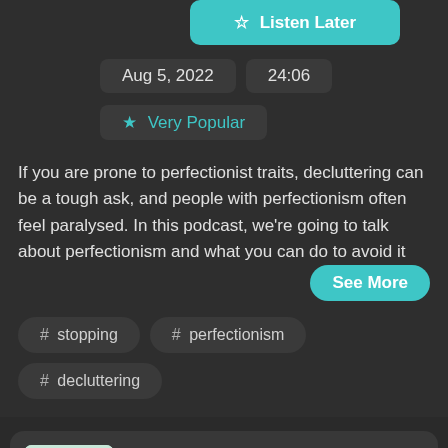[Figure (screenshot): Listen Later button in teal/cyan color with bookmark icon]
Aug 5, 2022    24:06
★ Very Popular
If you are prone to perfectionist traits, decluttering can be a tough ask, and people with perfectionism often feel paralysed. In this podcast, we're going to talk about perfectionism and what you can do to avoid it
See More
# stopping
# perfectionism
# decluttering
205: Forget Perfectionism in Your Art